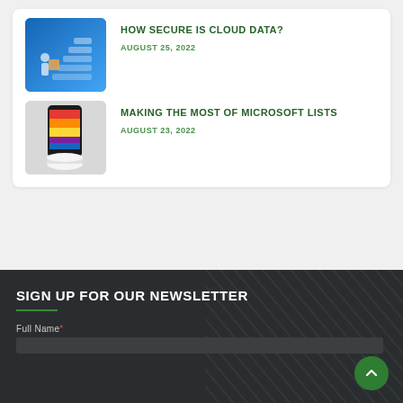HOW SECURE IS CLOUD DATA?
AUGUST 25, 2022
MAKING THE MOST OF MICROSOFT LISTS
AUGUST 23, 2022
SIGN UP FOR OUR NEWSLETTER
Full Name*